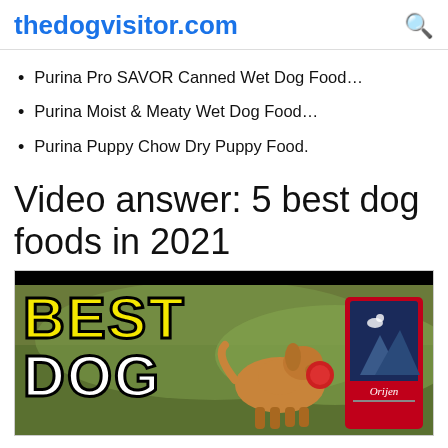thedogvisitor.com
Purina Pro SAVOR Canned Wet Dog Food…
Purina Moist & Meaty Wet Dog Food…
Purina Puppy Chow Dry Puppy Food.
Video answer: 5 best dog foods in 2021
[Figure (screenshot): Video thumbnail showing 'BEST DOG' text in bold yellow and white letters with a golden retriever dog and an Orijen dog food bag in the background]